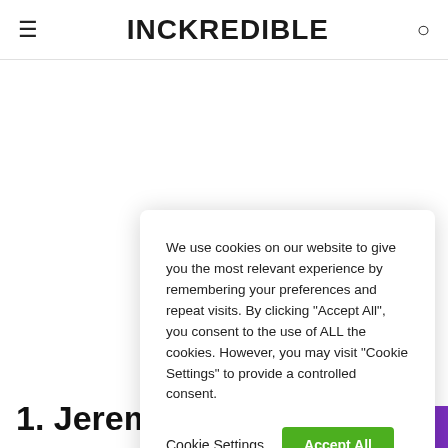INCKREDIBLE
We use cookies on our website to give you the most relevant experience by remembering your preferences and repeat visits. By clicking "Accept All", you consent to the use of ALL the cookies. However, you may visit "Cookie Settings" to provide a controlled consent.
Cookie Settings  Accept All
1.  Jeremy